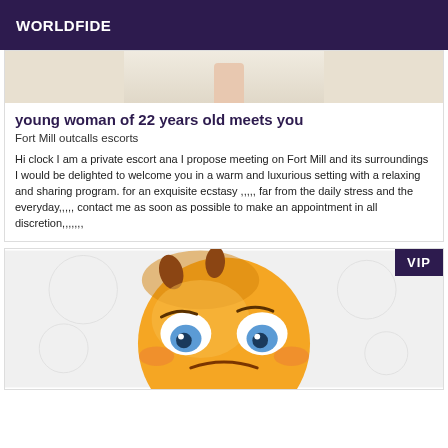WORLDFIDE
[Figure (photo): Partial image of a person wearing white clothing, showing lower body/hand area]
young woman of 22 years old meets you
Fort Mill outcalls escorts
Hi clock I am a private escort ana I propose meeting on Fort Mill and its surroundings I would be delighted to welcome you in a warm and luxurious setting with a relaxing and sharing program. for an exquisite ecstasy ,,,,, far from the daily stress and the everyday,,,,, contact me as soon as possible to make an appointment in all discretion,,,,,,,
[Figure (illustration): Cartoon emoji face - yellow round smiley with rolling/pleading eyes, orange hair, on light background]